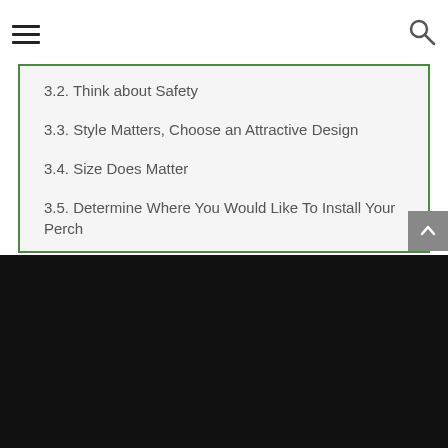3.2. Think about Safety
3.3. Style Matters, Choose an Attractive Design
3.4. Size Does Matter
3.5. Determine Where You Would Like To Install Your Perch
3.6. Consider Material Options
4. Cat Window Perch FAQs: